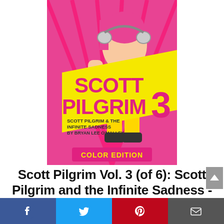[Figure (illustration): Book cover of Scott Pilgrim Vol. 3 Color Edition. Colorful comic-style cover with a character in roller skates on a pink/red/orange background. Large yellow diagonal banner reads 'SCOTT PILGRIM' in pink letters with a number '3'. Subtitle reads 'SCOTT PILGRIM & THE INFINITE SADNESS BY BRYAN LEE O'MALLEY'. Bottom banner reads 'COLOR EDITION'.]
Scott Pilgrim Vol. 3 (of 6): Scott Pilgrim and the Infinite Sadness - Color Edition Preview (Scott Pilgrim (Color))
[Figure (infographic): Social media sharing bar at the bottom with four buttons: Facebook (blue), Twitter (light blue), Pinterest (red), Email (dark gray)]